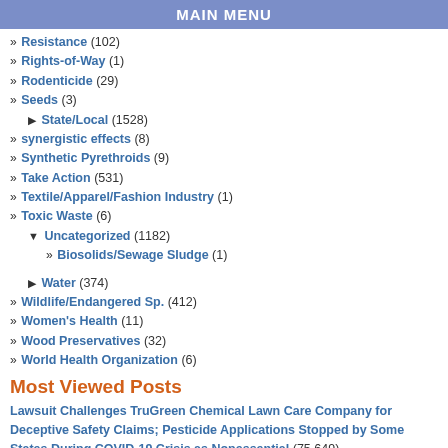MAIN MENU
» Resistance (102)
» Rights-of-Way (1)
» Rodenticide (29)
» Seeds (3)
► State/Local (1528)
» synergistic effects (8)
» Synthetic Pyrethroids (9)
» Take Action (531)
» Textile/Apparel/Fashion Industry (1)
» Toxic Waste (6)
▼ Uncategorized (1182)
» Biosolids/Sewage Sludge (1)
► Water (374)
» Wildlife/Endangered Sp. (412)
» Women's Health (11)
» Wood Preservatives (32)
» World Health Organization (6)
Most Viewed Posts
Lawsuit Challenges TruGreen Chemical Lawn Care Company for Deceptive Safety Claims; Pesticide Applications Stopped by Some States During COVID-19 Crisis as Nonessential (75,649)
Glyphosate Causes Changes to DNA Function Resulting in